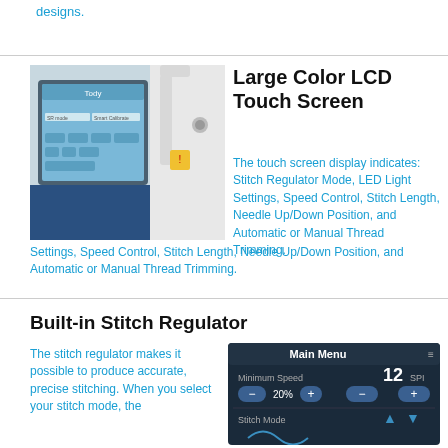designs.
[Figure (photo): Large color LCD touch screen on a quilting machine showing blue buttons and menu options]
Large Color LCD Touch Screen
The touch screen display indicates: Stitch Regulator Mode, LED Light Settings, Speed Control, Stitch Length, Needle Up/Down Position, and Automatic or Manual Thread Trimming.
Built-in Stitch Regulator
The stitch regulator makes it possible to produce accurate, precise stitching. When you select your stitch mode, the
[Figure (screenshot): Main Menu screen showing Minimum Speed 12 SPI, 20% controls, and Stitch Mode options]